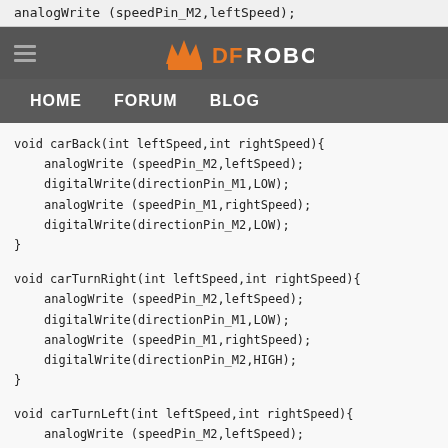analogWrite (speedPin_M2,leftSpeed);
DFRobot navigation header with HOME, FORUM, BLOG links
void carBack(int leftSpeed,int rightSpeed){
  analogWrite (speedPin_M2,leftSpeed);
  digitalWrite(directionPin_M1,LOW);
  analogWrite (speedPin_M1,rightSpeed);
  digitalWrite(directionPin_M2,LOW);
}
void carTurnRight(int leftSpeed,int rightSpeed){
  analogWrite (speedPin_M2,leftSpeed);
  digitalWrite(directionPin_M1,LOW);
  analogWrite (speedPin_M1,rightSpeed);
  digitalWrite(directionPin_M2,HIGH);
}
void carTurnLeft(int leftSpeed,int rightSpeed){
  analogWrite (speedPin_M2,leftSpeed);
  digitalWrite(directionPin_M1,HIGH);